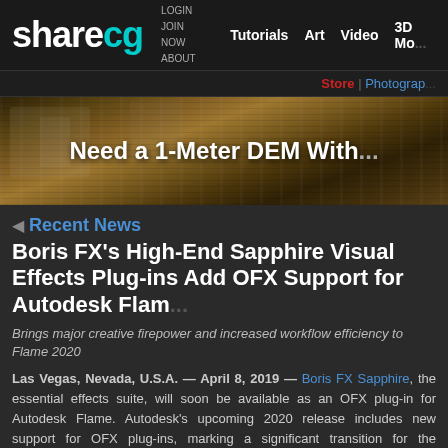sharecg — LOGIN JOIN NOW ABOUT — Tutorials Art Video 3D Mo...
Store | Photograp...
[Figure (photo): Banner image with rock/concrete texture background and overlaid white bold text: 'Need a 1-Meter DEM With...']
Recent News
Boris FX's High-End Sapphire Visual Effects Plug-ins Add OFX Support for Autodesk Flam...
Brings major creative firepower and increased workflow efficiency to Flame 2020
Las Vegas, Nevada, U.S.A. — April 8, 2019 — Boris FX Sapphire, the essential effects suite, will soon be available as an OFX plug-in for Autodesk Flame. Autodesk's upcoming 2020 release includes new support for OFX plug-ins, marking a significant transition for the advanced 3D VFX and compositing software — and Sapphire 2019 is ready. Technology previews of Sapphire 2019 OFX plugins working inside the Flame 2020 release are available at the National Association of Broadcasters April 8–Mar 2019 in Las Vegas. Booth: CL6928